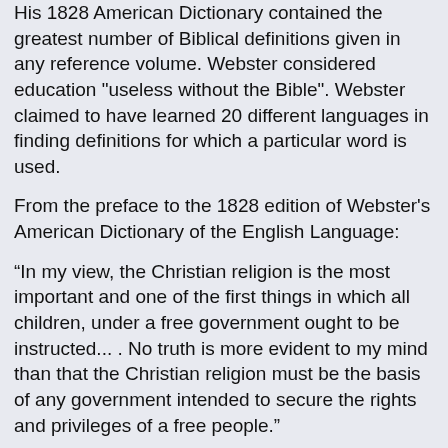His 1828 American Dictionary contained the greatest number of Biblical definitions given in any reference volume. Webster considered education "useless without the Bible". Webster claimed to have learned 20 different languages in finding definitions for which a particular word is used.
From the preface to the 1828 edition of Webster's American Dictionary of the English Language:
“In my view, the Christian religion is the most important and one of the first things in which all children, under a free government ought to be instructed... . No truth is more evident to my mind than that the Christian religion must be the basis of any government intended to secure the rights and privileges of a free people.”
Webster released his own edition of the Bible in 1833, called the Common Version. He used the King James Version (KJV) as a base and consulted the Hebrew and Greek along with various other versions and commentaries. Webster molded the KJV to correct grammar, replaced words that were no longer used, and did away with words and phrases that could be seen as offensive. (I made this bold for a reason. A downloadable copy of his version is available here, if